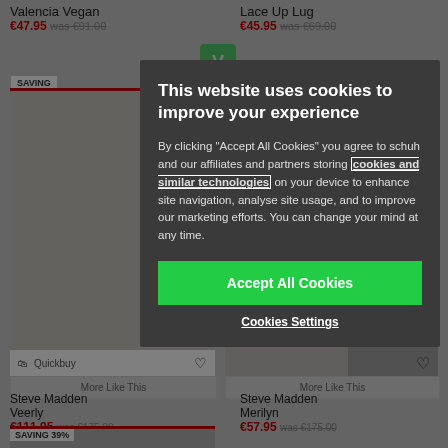Valencia Vegan
€47.95 was €91.00
Lace Up Lug
€45.95 was €69.00
SAVING
Steve Madden Veerly
€111.95 was €175.00
Steve Madden Merilyn
€57.95 was €175.00
SAVING 39%
SAVING 24%
More Like This
More Like This
[Figure (screenshot): Cookie consent modal overlay on a shoe shopping website (schuh). The modal has a dark grey background with white text reading 'This website uses cookies to improve your experience'. Below is explanatory text about cookies and partners. A bright green 'Accept All Cookies' button appears at the bottom, followed by a 'Cookies Settings' link.]
This website uses cookies to improve your experience
By clicking "Accept All Cookies" you agree to schuh and our affiliates and partners storing cookies and similar technologies on your device to enhance site navigation, analyse site usage, and to improve our marketing efforts. You can change your mind at any time.
Accept All Cookies
Cookies Settings